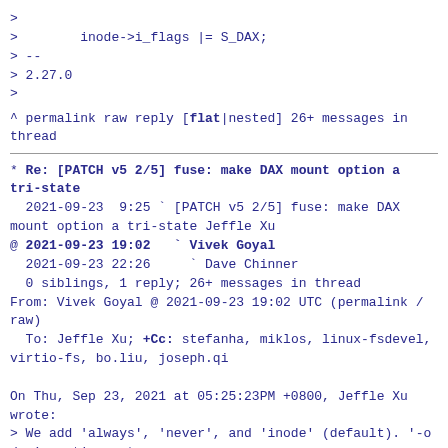>
>        inode->i_flags |= S_DAX;
> --
> 2.27.0
>
^ permalink raw reply   [flat|nested] 26+ messages in thread
* Re: [PATCH v5 2/5] fuse: make DAX mount option a tri-state
   2021-09-23  9:25 ` [PATCH v5 2/5] fuse: make DAX mount option a tri-state Jeffle Xu
@ 2021-09-23 19:02   ` Vivek Goyal
  2021-09-23 22:26     ` Dave Chinner
  0 siblings, 1 reply; 26+ messages in thread
From: Vivek Goyal @ 2021-09-23 19:02 UTC (permalink / raw)
  To: Jeffle Xu; +Cc: stefanha, miklos, linux-fsdevel, virtio-fs, bo.liu, joseph.qi

On Thu, Sep 23, 2021 at 05:25:23PM +0800, Jeffle Xu wrote:
> We add 'always', 'never', and 'inode' (default). '-o dax' continues to
> operate the same which is equivalent to 'always'. To be consistemt with
> ext4/xfs's tri-state mount option, when neither '-o